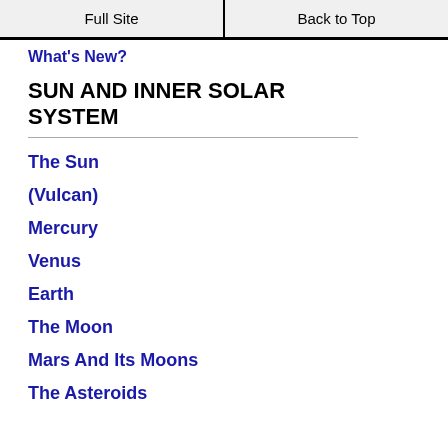Full Site | Back to Top
What's New?
SUN AND INNER SOLAR SYSTEM
The Sun
(Vulcan)
Mercury
Venus
Earth
The Moon
Mars And Its Moons
The Asteroids